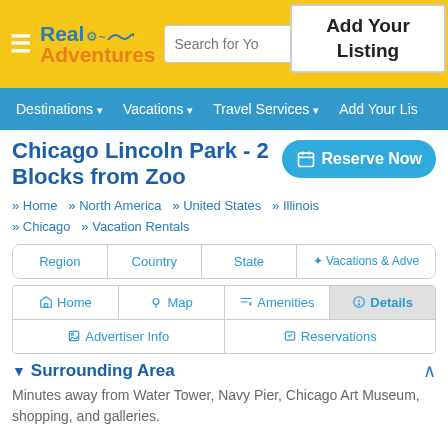Real Adventures — Search for Your Adventure
Add Your Listing
Destinations ▾  Vacations ▾  Travel Services ▾  Add Your Listing
Chicago Lincoln Park - 2 Blocks from Zoo
Reserve Now
» Home  » North America  » United States  » Illinois  » Chicago  » Vacation Rentals
Region
Country
State
✦ Vacations & Adventures
Home
Map
Amenities
Details
Advertiser Info
Reservations
▼ Surrounding Area
Minutes away from Water Tower, Navy Pier, Chicago Art Museum, shopping, and galleries.